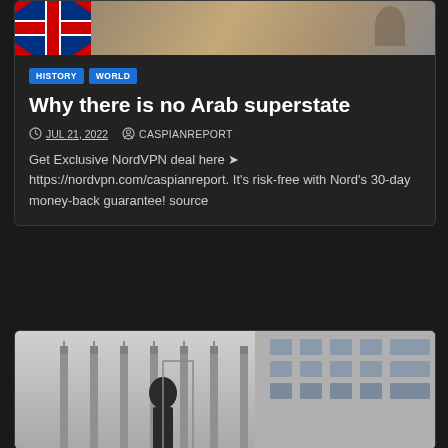[Figure (photo): Top image showing a UK flag on the left and a partial figure on the right, dark background]
HISTORY
WORLD
Why there is no Arab superstate
JUL 21, 2022   CASPIANREPORT
Get Exclusive NordVPN deal here 🎯 https://nordvpn.com/caspianreport. It's risk-free with Nord's 30-day money-back guarantee! source
[Figure (photo): Bottom image showing a person standing behind iron fence/bars in front of a building]